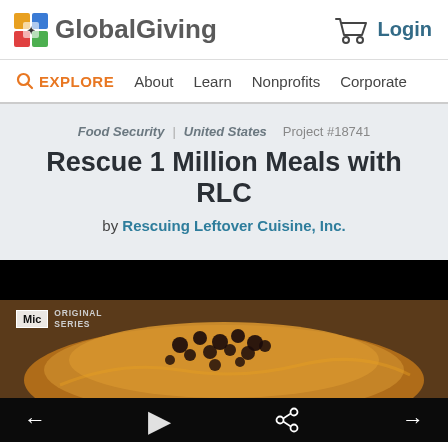GlobalGiving | Login
EXPLORE | About | Learn | Nonprofits | Corporate
Food Security | United States | Project #18741
Rescue 1 Million Meals with RLC
by Rescuing Leftover Cuisine, Inc.
[Figure (screenshot): Video thumbnail showing a food item with black beans on top, with Mic Original Series badge, and video player controls (back arrow, play button, share icon, next arrow)]